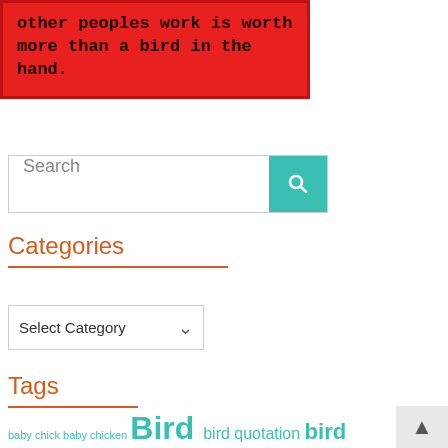other peoples work is worth more than a bird in the hand.
Search
Categories
Select Category
Tags
baby chick baby chicken Bird bird quotation bird quotations bird quote bird quotes birds bird